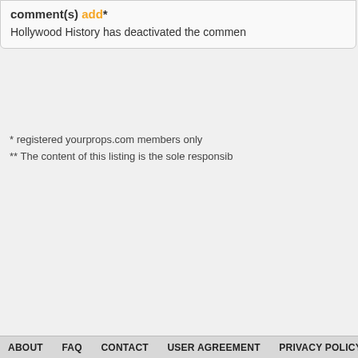comment(s) add*
Hollywood History has deactivated the commen
* registered yourprops.com members only
** The content of this listing is the sole responsib
ABOUT   FAQ   CONTACT   USER AGREEMENT   PRIVACY POLICY